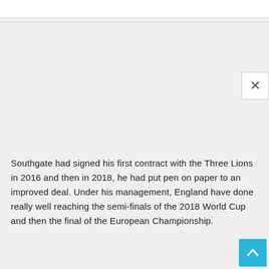Southgate had signed his first contract with the Three Lions in 2016 and then in 2018, he had put pen on paper to an improved deal. Under his management, England have done really well reaching the semi-finals of the 2018 World Cup and then the final of the European Championship.